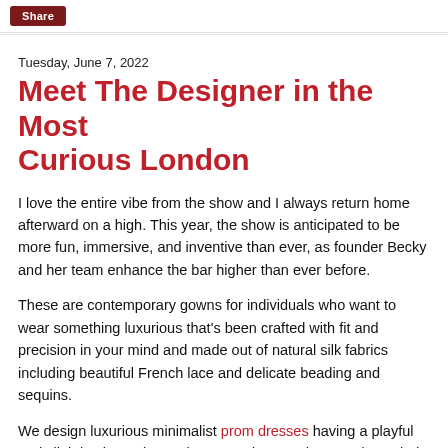Share
Tuesday, June 7, 2022
Meet The Designer in the Most Curious London
I love the entire vibe from the show and I always return home afterward on a high. This year, the show is anticipated to be more fun, immersive, and inventive than ever, as founder Becky and her team enhance the bar higher than ever before.
These are contemporary gowns for individuals who want to wear something luxurious that's been crafted with fit and precision in your mind and made out of natural silk fabrics including beautiful French lace and delicate beading and sequins.
We design luxurious minimalist prom dresses having a playful and slightly alternative undertone – dresses that may be styled and worn with assorted tops, jackets, capes, and